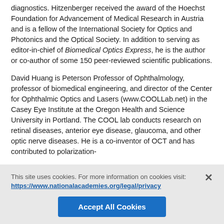diagnostics. Hitzenberger received the award of the Hoechst Foundation for Advancement of Medical Research in Austria and is a fellow of the International Society for Optics and Photonics and the Optical Society. In addition to serving as editor-in-chief of Biomedical Optics Express, he is the author or co-author of some 150 peer-reviewed scientific publications.
David Huang is Peterson Professor of Ophthalmology, professor of biomedical engineering, and director of the Center for Ophthalmic Optics and Lasers (www.COOLLab.net) in the Casey Eye Institute at the Oregon Health and Science University in Portland. The COOL lab conducts research on retinal diseases, anterior eye disease, glaucoma, and other optic nerve diseases. He is a co-inventor of OCT and has contributed to polarization-
This site uses cookies. For more information on cookies visit: https://www.nationalacademies.org/legal/privacy
Accept All Cookies